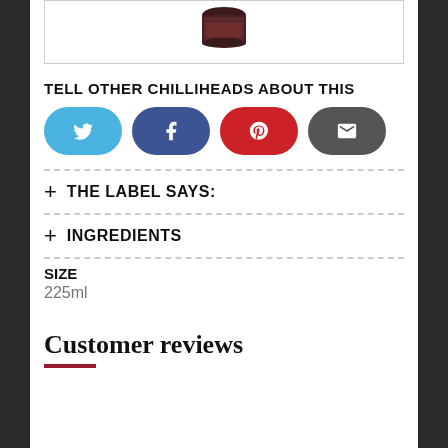[Figure (photo): Product image of a jar/bottle partially visible at top of page in a bordered box]
TELL OTHER CHILLIHEADS ABOUT THIS
[Figure (infographic): Four social share buttons: Twitter (blue), Facebook (dark blue), Pinterest (red), Email (dark grey)]
+ THE LABEL SAYS:
+ INGREDIENTS
SIZE
225ml
Customer reviews